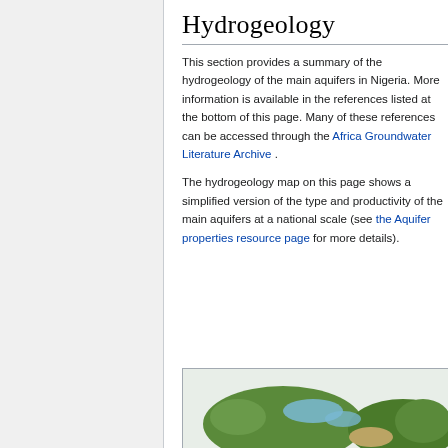Hydrogeology
This section provides a summary of the hydrogeology of the main aquifers in Nigeria. More information is available in the references listed at the bottom of this page. Many of these references can be accessed through the Africa Groundwater Literature Archive .
The hydrogeology map on this page shows a simplified version of the type and productivity of the main aquifers at a national scale (see the Aquifer properties resource page for more details).
[Figure (map): Partial view of a hydrogeology map of Nigeria showing aquifer regions in green, blue, and tan colors]